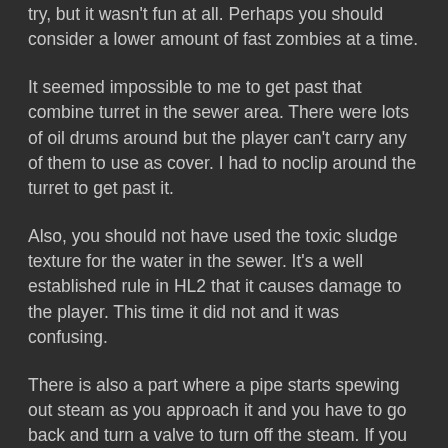try, but it wasn't fun at all. Perhaps you should consider a lower amount of fast zombies at a time.
It seemed impossible to me to get past that combine turret in the sewer area. There were lots of oil drums around but the player can't carry any of them to use as cover. I had to noclip around the turret to get past it.
Also, you should not have used the toxic sludge texture for the water in the sewer. It's a well established rule in HL2 that it causes damage to the player. This time it did not and it was confusing.
There is also a part where a pipe starts spewing out steam as you approach it and you have to go back and turn a valve to turn off the steam. If you try to turn the valve before the pipe starts to spew steam, it does